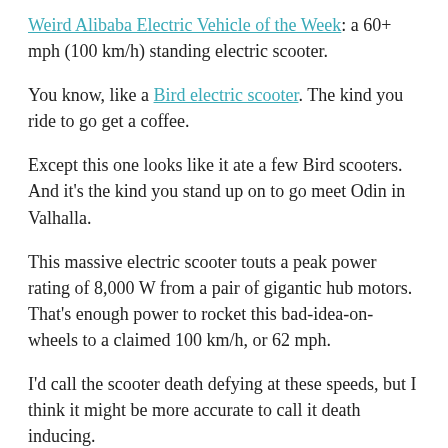Weird Alibaba Electric Vehicle of the Week: a 60+ mph (100 km/h) standing electric scooter.
You know, like a Bird electric scooter. The kind you ride to go get a coffee.
Except this one looks like it ate a few Bird scooters. And it's the kind you stand up on to go meet Odin in Valhalla.
This massive electric scooter touts a peak power rating of 8,000 W from a pair of gigantic hub motors. That's enough power to rocket this bad-idea-on-wheels to a claimed 100 km/h, or 62 mph.
I'd call the scooter death defying at these speeds, but I think it might be more accurate to call it death inducing.